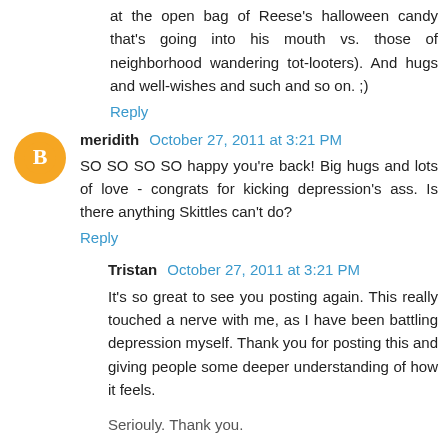at the open bag of Reese's halloween candy that's going into his mouth vs. those of neighborhood wandering tot-looters). And hugs and well-wishes and such and so on. ;)
Reply
meridith  October 27, 2011 at 3:21 PM
SO SO SO SO happy you're back! Big hugs and lots of love - congrats for kicking depression's ass. Is there anything Skittles can't do?
Reply
Tristan  October 27, 2011 at 3:21 PM
It's so great to see you posting again. This really touched a nerve with me, as I have been battling depression myself. Thank you for posting this and giving people some deeper understanding of how it feels.
Seriouly. Thank you.